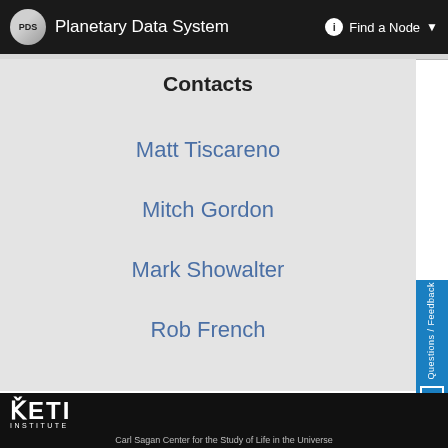PDS  Planetary Data System    Find a Node
Contacts
Matt Tiscareno
Mitch Gordon
Mark Showalter
Rob French
back to top
SETI INSTITUTE  Carl Sagan Center for the Study of Life in the Universe